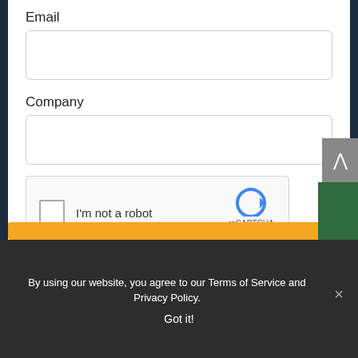Email
Company
[Figure (screenshot): reCAPTCHA widget with checkbox labeled 'I'm not a robot' and reCAPTCHA logo with 'Privacy - Terms']
By using our website, you agree to our Terms of Service and Privacy Policy.
Got it!